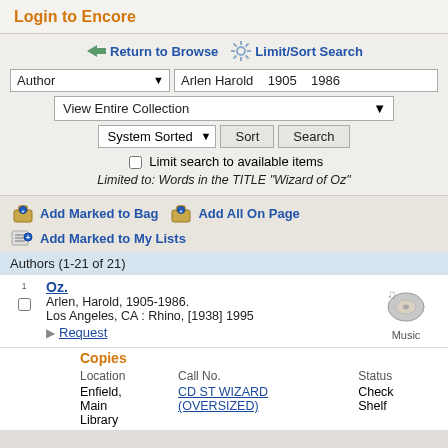Login to Encore
Return to Browse   Limit/Sort Search
Author   Arlen Harold   1905   1986
View Entire Collection
System Sorted   Sort   Search
Limit search to available items
Limited to: Words in the TITLE "Wizard of Oz"
Add Marked to Bag   Add All On Page
Add Marked to My Lists
Authors (1-21 of 21)
Oz.
Arlen, Harold, 1905-1986.
Los Angeles, CA : Rhino, [1938] 1995
Request
[Figure (illustration): Music CD/record icon with musical notes, labeled 'Music']
| Location | Call No. | Status |
| --- | --- | --- |
| Enfield, Main Library | CD ST WIZARD (OVERSIZED) | Check Shelf |